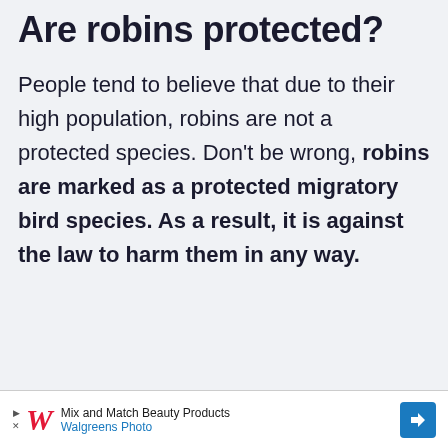Are robins protected?
People tend to believe that due to their high population, robins are not a protected species. Don't be wrong, robins are marked as a protected migratory bird species. As a result, it is against the law to harm them in any way.
[Figure (other): Walgreens advertisement banner: Mix and Match Beauty Products, Walgreens Photo]